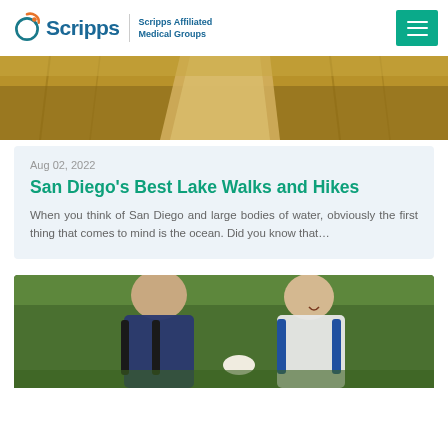Scripps | Scripps Affiliated Medical Groups
[Figure (photo): Outdoor dirt trail path through dry golden brush and grass landscape]
Aug 02, 2022
San Diego’s Best Lake Walks and Hikes
When you think of San Diego and large bodies of water, obviously the first thing that comes to mind is the ocean.  Did you know that…
[Figure (photo): Elderly couple with golf bags laughing together on a golf course]